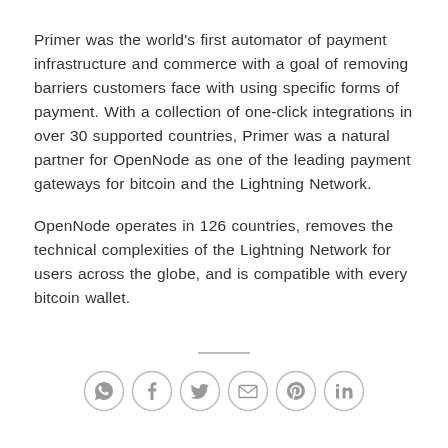Primer was the world's first automator of payment infrastructure and commerce with a goal of removing barriers customers face with using specific forms of payment. With a collection of one-click integrations in over 30 supported countries, Primer was a natural partner for OpenNode as one of the leading payment gateways for bitcoin and the Lightning Network.
OpenNode operates in 126 countries, removes the technical complexities of the Lightning Network for users across the globe, and is compatible with every bitcoin wallet.
[Figure (other): A horizontal row of six social media share icon circles (WhatsApp, Facebook, Twitter, Email, Pinterest, LinkedIn) in light gray outline style, preceded by a short gray horizontal divider line.]